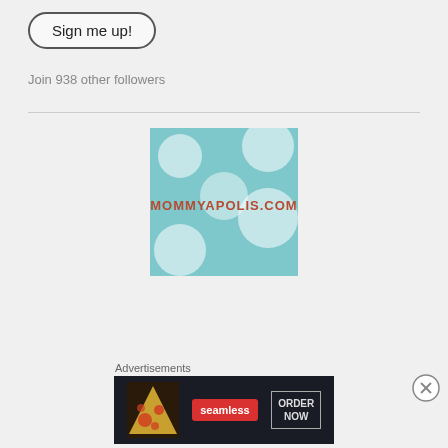Sign me up!
Join 938 other followers
[Figure (logo): Mommyapolis.com logo on teal polka dot background]
Twitter Updates
The boys engineering class at school made cardboard boats that they
Advertisements
[Figure (screenshot): Seamless food delivery advertisement banner with pizza image, Seamless red badge, and ORDER NOW button]